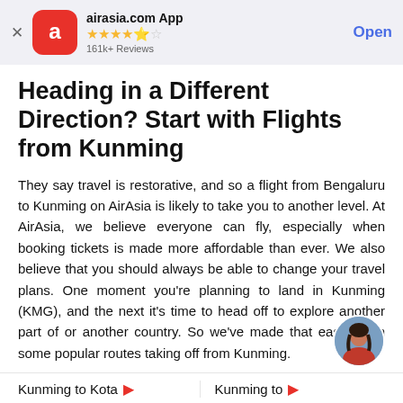airasia.com App · 4.5 stars · 161k+ Reviews · Open
Heading in a Different Direction? Start with Flights from Kunming
They say travel is restorative, and so a flight from Bengaluru to Kunming on AirAsia is likely to take you to another level. At AirAsia, we believe everyone can fly, especially when booking tickets is made more affordable than ever. We also believe that you should always be able to change your travel plans. One moment you're planning to land in Kunming (KMG), and the next it's time to head off to explore another part of or another country. So we've made that easier with some popular routes taking off from Kunming.
Kunming to Kota
Kunming to